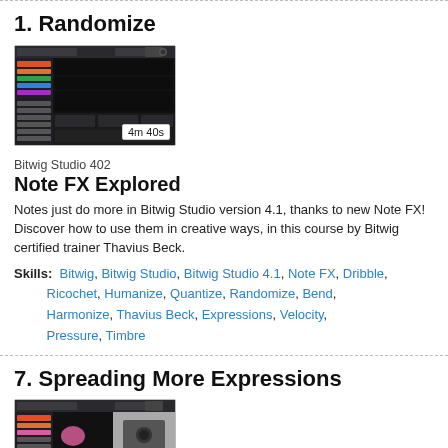1. Randomize
[Figure (screenshot): Thumbnail screenshot of Bitwig Studio software interface with duration badge showing 4m 40s]
Bitwig Studio 402
Note FX Explored
Notes just do more in Bitwig Studio version 4.1, thanks to new Note FX! Discover how to use them in creative ways, in this course by Bitwig certified trainer Thavius Beck.
Skills: Bitwig, Bitwig Studio, Bitwig Studio 4.1, Note FX, Dribble, Ricochet, Humanize, Quantize, Randomize, Bend, Harmonize, Thavius Beck, Expressions, Velocity, Pressure, Timbre
7. Spreading More Expressions
[Figure (screenshot): Thumbnail screenshot of Bitwig Studio software interface with duration badge showing 5m 51s]